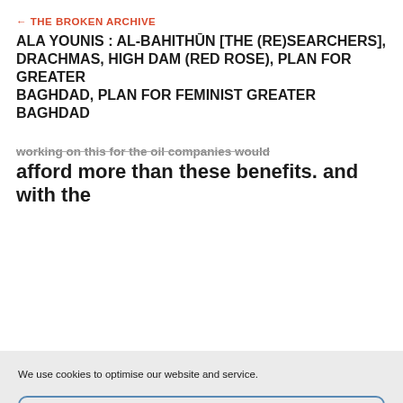← THE BROKEN ARCHIVE
ALA YOUNIS : AL-BAHITHŪN [THE (RE)SEARCHERS], DRACHMAS, HIGH DAM (RED ROSE), PLAN FOR GREATER BAGHDAD, PLAN FOR FEMINIST GREATER BAGHDAD
…working on this for the oil companies would afford more than these benefits. and with the
We use cookies to optimise our website and service.
Accept cookies
Deny
View preferences
↗www.brokenarchive.org